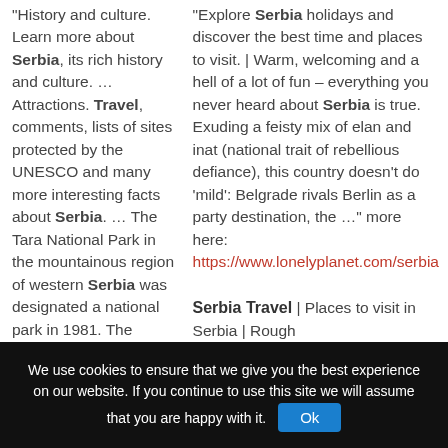“History and culture. Learn more about Serbia, its rich history and culture. … Attractions. Travel, comments, lists of sites protected by the UNESCO and many more interesting facts about Serbia. … The Tara National Park in the mountainous region of western Serbia was designated a national park in 1981. The 19,200-hectare …” more here: http://www.serbia.travel/
“Explore Serbia holidays and discover the best time and places to visit. | Warm, welcoming and a hell of a lot of fun – everything you never heard about Serbia is true. Exuding a feisty mix of elan and inat (national trait of rebellious defiance), this country doesn’t do ‘mild’: Belgrade rivals Berlin as a party destination, the …” more here: https://www.lonelyplanet.com/serbia
Serbia Travel | Places to visit in Serbia | Rough
We use cookies to ensure that we give you the best experience on our website. If you continue to use this site we will assume that you are happy with it.